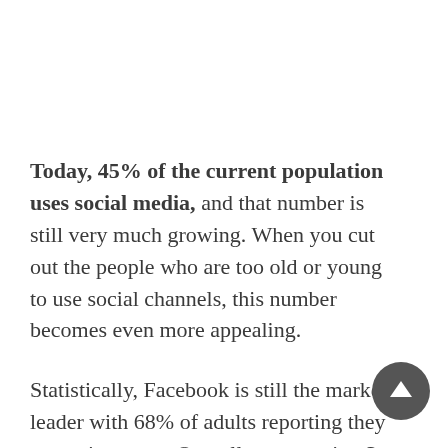Today, 45% of the current population uses social media, and that number is still very much growing. When you cut out the people who are too old or young to use social channels, this number becomes even more appealing.
Statistically, Facebook is still the market leader with 68% of adults reporting they are active users. Overall, a staggering 3 hours per